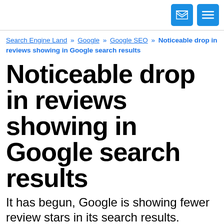[envelope icon] [menu icon]
Search Engine Land » Google » Google SEO » Noticeable drop in reviews showing in Google search results
Noticeable drop in reviews showing in Google search results
It has begun, Google is showing fewer review stars in its search results.
Barry Schwartz on September 18, 2019 at 9:37 am | Reading time: 2